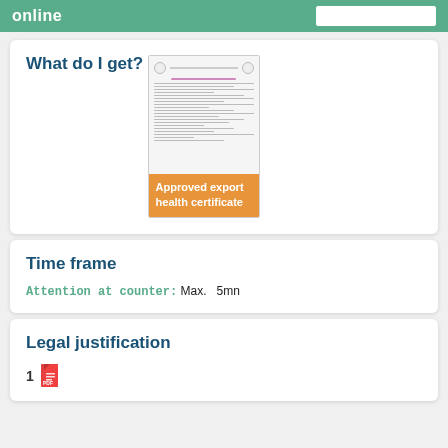online
What do I get?
[Figure (illustration): Thumbnail of an approved export health certificate document with an orange label at the bottom reading 'Approved export health certificate']
Approved export health certificate
Time frame
Attention at counter:  Max.  5mn
Legal justification
1  [pdf icon]